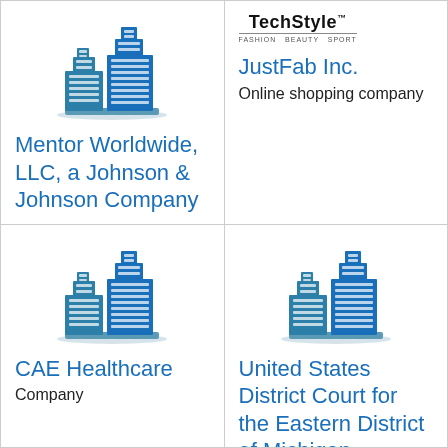[Figure (logo): Building/office icon for Mentor Worldwide LLC]
Mentor Worldwide, LLC, a Johnson & Johnson Company
[Figure (logo): TechStyle brand logo text with subtitle line]
JustFab Inc.
Online shopping company
[Figure (logo): Building/office icon for CAE Healthcare]
CAE Healthcare
Company
[Figure (logo): Building/office icon for United States District Court]
United States District Court for the Eastern District of Michigan